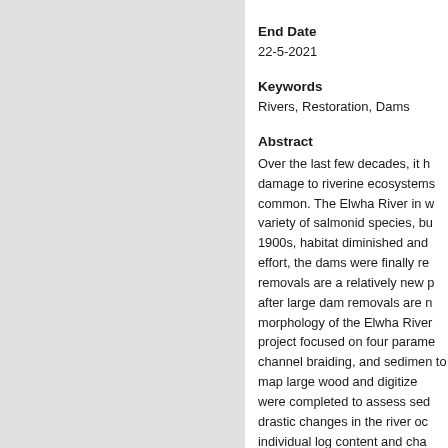End Date
22-5-2021
Keywords
Rivers, Restoration, Dams
Abstract
Over the last few decades, it h damage to riverine ecosystems common. The Elwha River in w variety of salmonid species, bu 1900s, habitat diminished and effort, the dams were finally re removals are a relatively new p after large dam removals are n morphology of the Elwha River project focused on four parame channel braiding, and sedimen to map large wood and digitize were completed to assess sed drastic changes in the river oc individual log content and cha and then stabilized after the co sinuosity, and sediment-size ch